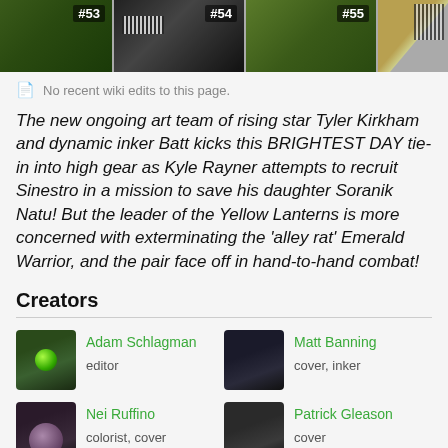[Figure (photo): Three comic book issue thumbnails labeled #53, #54, #55 with a partial fourth thumbnail]
No recent wiki edits to this page.
The new ongoing art team of rising star Tyler Kirkham and dynamic inker Batt kicks this BRIGHTEST DAY tie-in into high gear as Kyle Rayner attempts to recruit Sinestro in a mission to save his daughter Soranik Natu! But the leader of the Yellow Lanterns is more concerned with exterminating the 'alley rat' Emerald Warrior, and the pair face off in hand-to-hand combat!
Creators
Adam Schlagman
editor
Matt Banning
cover, inker
Nei Ruffino
colorist, cover
Patrick Gleason
cover